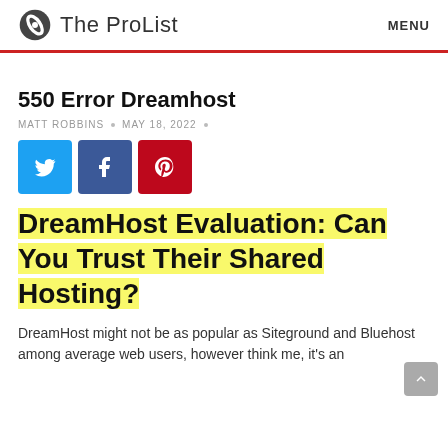The ProList  MENU
550 Error Dreamhost
MATT ROBBINS  •  MAY 18, 2022  •
[Figure (infographic): Social share buttons: Twitter (blue), Facebook (dark blue), Pinterest (red)]
DreamHost Evaluation: Can You Trust Their Shared Hosting?
DreamHost might not be as popular as Siteground and Bluehost among average web users, however think me, it's an